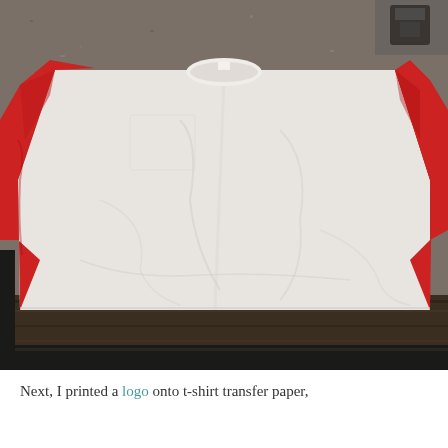[Figure (photo): A white and red raglan baseball t-shirt laid flat on a dark wooden surface (likely a table or ironing board), with a granite countertop visible in the background. The shirt has a white body and red three-quarter sleeves.]
Next, I printed a logo onto t-shirt transfer paper,